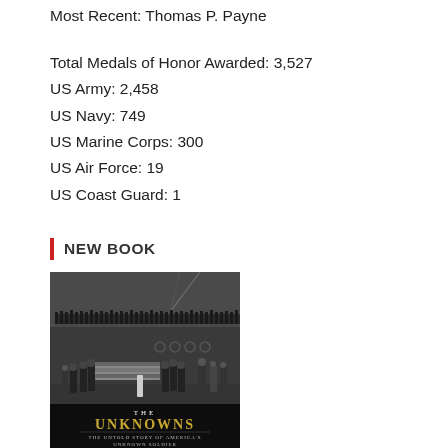Most Recent: Thomas P. Payne
Total Medals of Honor Awarded: 3,527
US Army: 2,458
US Navy: 749
US Marine Corps: 300
US Air Force: 19
US Coast Guard: 1
NEW BOOK
[Figure (photo): Book cover for 'The Unknowns: The Untold Story of America's Unknown Soldier' showing a black and white photograph of a military funeral ceremony on what appears to be a ship deck, with soldiers carrying a flag-draped coffin and crowds watching in the background.]